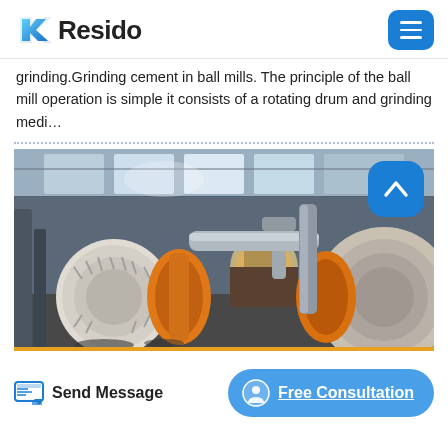Resido
grinding.Grinding cement in ball mills. The principle of the ball mill operation is simple it consists of a rotating drum and grinding medi…
[Figure (photo): Industrial ball mills inside a large factory/warehouse. Two large cylindrical ball mills with orange drive rings visible, connected by pipes, in a spacious industrial building with steel roof trusses and skylights.]
Send Message
Free Consultation